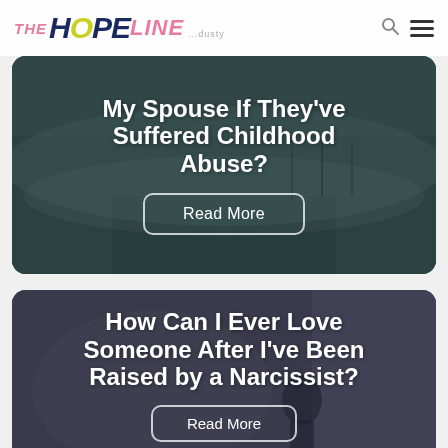THE HOPE LINE
My Spouse If They've Suffered Childhood Abuse?
Read More
How Can I Ever Love Someone After I've Been Raised by a Narcissist?
Read More